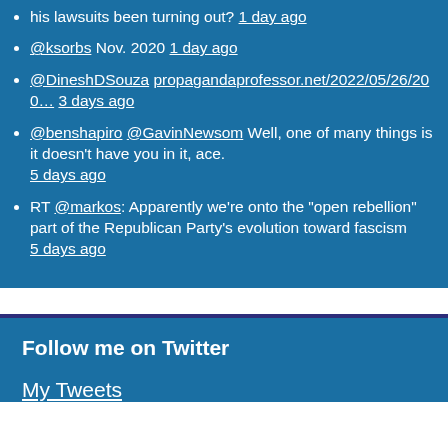his lawsuits been turning out? 1 day ago
@ksorbs Nov. 2020 1 day ago
@DineshDSouza propagandaprofessor.net/2022/05/26/200... 3 days ago
@benshapiro @GavinNewsom Well, one of many things is it doesn't have you in it, ace. 5 days ago
RT @markos: Apparently we're onto the "open rebellion" part of the Republican Party's evolution toward fascism 5 days ago
Follow me on Twitter
My Tweets